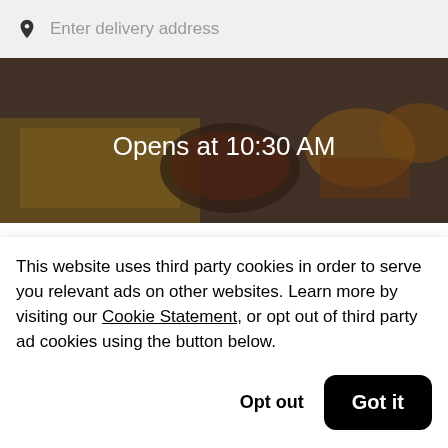Enter delivery address
[Figure (photo): Food photo showing fries, burgers and other food items with dark overlay and text 'Opens at 10:30 AM']
The Habit Burger Grill (146 W El Camino Real)   New
$
This website uses third party cookies in order to serve you relevant ads on other websites. Learn more by visiting our Cookie Statement, or opt out of third party ad cookies using the button below.
Opt out   Got it